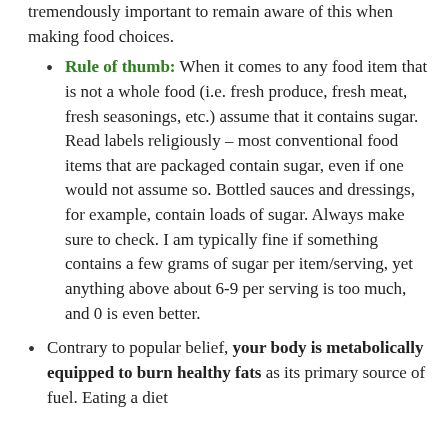tremendously important to remain aware of this when making food choices.
Rule of thumb: When it comes to any food item that is not a whole food (i.e. fresh produce, fresh meat, fresh seasonings, etc.) assume that it contains sugar. Read labels religiously – most conventional food items that are packaged contain sugar, even if one would not assume so. Bottled sauces and dressings, for example, contain loads of sugar. Always make sure to check. I am typically fine if something contains a few grams of sugar per item/serving, yet anything above about 6-9 per serving is too much, and 0 is even better.
Contrary to popular belief, your body is metabolically equipped to burn healthy fats as its primary source of fuel. Eating a diet...